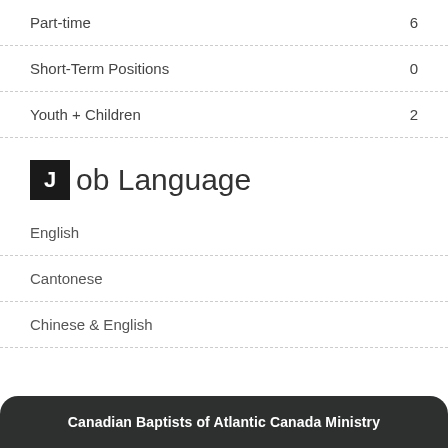Part-time | 6
Short-Term Positions | 0
Youth + Children | 2
Job Language
English
Cantonese
Chinese & English
Canadian Baptists of Atlantic Canada Ministry